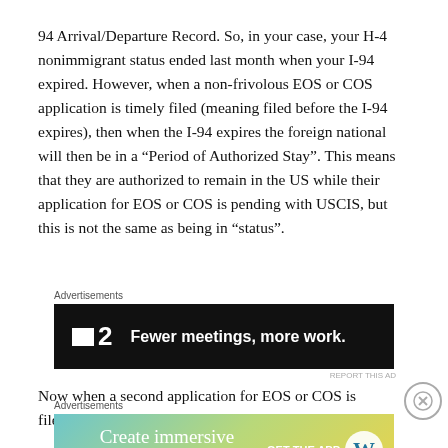94 Arrival/Departure Record. So, in your case, your H-4 nonimmigrant status ended last month when your I-94 expired. However, when a non-frivolous EOS or COS application is timely filed (meaning filed before the I-94 expires), then when the I-94 expires the foreign national will then be in a “Period of Authorized Stay”. This means that they are authorized to remain in the US while their application for EOS or COS is pending with USCIS, but this is not the same as being in “status”.
[Figure (other): Dark advertisement banner for a product with logo featuring a square icon and number 2, with slogan 'Fewer meetings, more work.']
Now when a second application for EOS or COS is filed
[Figure (other): Colorful advertisement banner for WordPress with text 'Create immersive stories.' and 'GET THE APP' button with WordPress logo.]